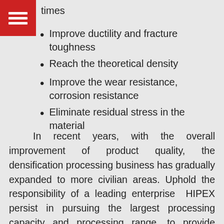times
Improve ductility and fracture toughness
Reach the theoretical density
Improve the wear resistance, corrosion resistance
Eliminate residual stress in the material
In recent years, with the overall improvement of product quality, the densification processing business has gradually expanded to more civilian areas. Uphold the responsibility of a leading enterprise HIPEX persist in pursuing the largest processing capacity and processing range, to provide customers with the most cutting-edge technology and the most reliable quality of service.